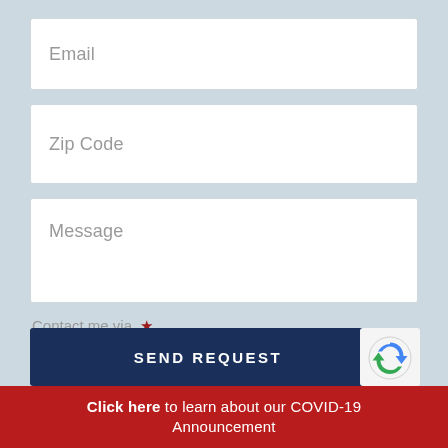Email
Zip Code
Message
Contact me via *
Either
SEND REQUEST
Click here to learn about our COVID-19 Announcement